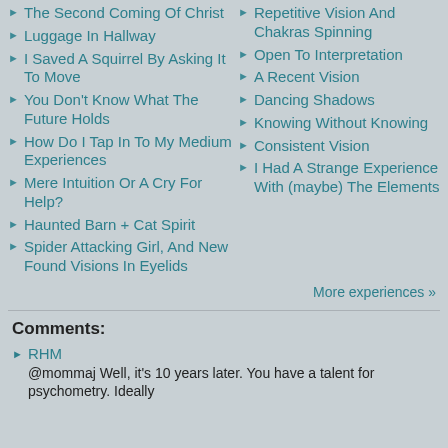The Second Coming Of Christ
Luggage In Hallway
I Saved A Squirrel By Asking It To Move
You Don't Know What The Future Holds
How Do I Tap In To My Medium Experiences
Mere Intuition Or A Cry For Help?
Haunted Barn + Cat Spirit
Spider Attacking Girl, And New Found Visions In Eyelids
Repetitive Vision And Chakras Spinning
Open To Interpretation
A Recent Vision
Dancing Shadows
Knowing Without Knowing
Consistent Vision
I Had A Strange Experience With (maybe) The Elements
More experiences »
Comments:
RHM
@mommaj Well, it's 10 years later. You have a talent for psychometry. Ideally